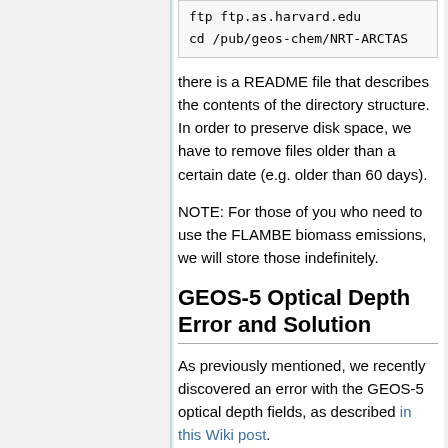ftp ftp.as.harvard.edu
    cd /pub/geos-chem/NRT-ARCTAS
there is a README file that describes the contents of the directory structure. In order to preserve disk space, we have to remove files older than a certain date (e.g. older than 60 days).
NOTE: For those of you who need to use the FLAMBE biomass emissions, we will store those indefinitely.
GEOS-5 Optical Depth Error and Solution
As previously mentioned, we recently discovered an error with the GEOS-5 optical depth fields, as described in this Wiki post.
The "quick fix" is to just multiply the